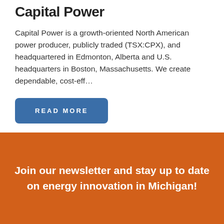Capital Power
Capital Power is a growth-oriented North American power producer, publicly traded (TSX:CPX), and headquartered in Edmonton, Alberta and U.S. headquarters in Boston, Massachusetts. We create dependable, cost-eff…
READ MORE
1  2  3  ...  6  »
Join our newsletter and stay up to date on energy innovation in Michigan!